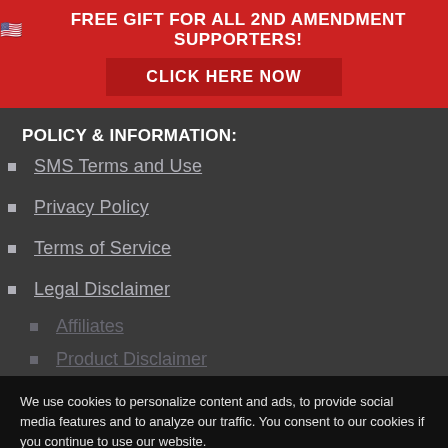🇺🇸 FREE GIFT FOR ALL 2ND AMENDMENT SUPPORTERS!
CLICK HERE NOW
POLICY & INFORMATION:
SMS Terms and Use
Privacy Policy
Terms of Service
Legal Disclaimer
Affiliates
Product Disclaimer
We use cookies to personalize content and ads, to provide social media features and to analyze our traffic. You consent to our cookies if you continue to use our website.
Accept